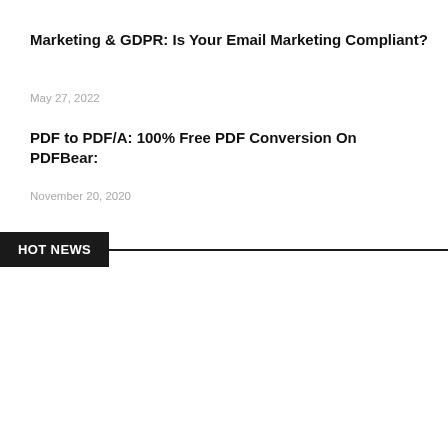Marketing & GDPR: Is Your Email Marketing Compliant?
May 27, 2022
PDF to PDF/A: 100% Free PDF Conversion On PDFBear:
November 20, 2020
HOT NEWS